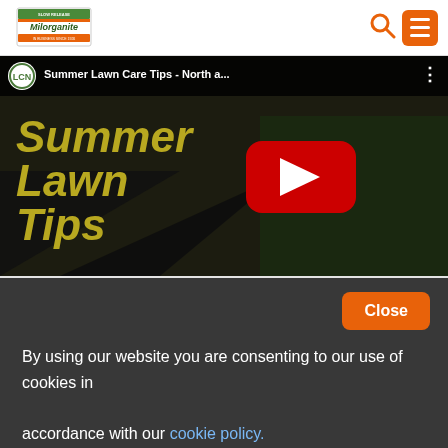[Figure (logo): Milorganite brand logo with green and orange colors]
[Figure (screenshot): YouTube video embed thumbnail showing 'Summer Lawn Care Tips - North a...' by LCN channel, with large text 'Summer Lawn Tips' overlaid on dark background, YouTube play button visible]
By using our website you are consenting to our use of cookies in accordance with our cookie policy.